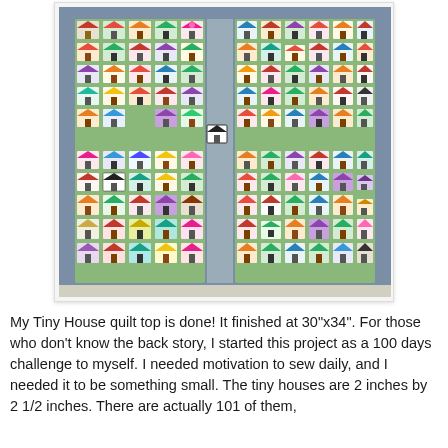[Figure (photo): A quilt top made of approximately 101 tiny house blocks arranged in rows on green and gray fabric, with a blue-gray border. Each tiny house block is colorful and unique.]
My Tiny House quilt top is done! It finished at 30"x34". For those who don't know the back story, I started this project as a 100 days challenge to myself. I needed motivation to sew daily, and I needed it to be something small. The tiny houses are 2 inches by 2 1/2 inches. There are actually 101 of them,